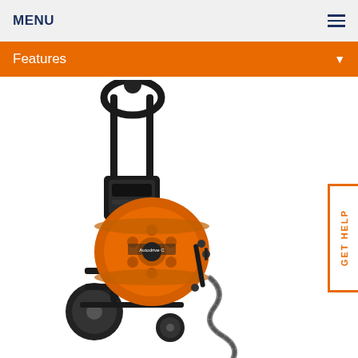MENU
Features
[Figure (photo): Orange and black drain cleaning machine on a wheeled cart with a coiled cable and hook attachment]
GET HELP